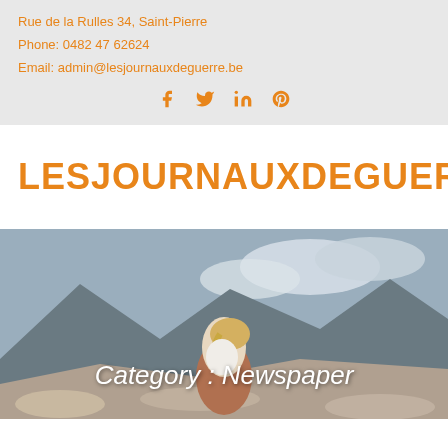Rue de la Rulles 34, Saint-Pierre
Phone: 0482 47 62624
Email: admin@lesjournauxdeguerre.be
[Figure (infographic): Social media icons: Facebook, Twitter, LinkedIn, Pinterest in orange]
LESJOURNAUXDEGUERRE
[Figure (photo): A couple embracing and kissing on a rocky mountain landscape with clouds in the background. The woman has blonde hair and wears a white sweater; the man lifts her from behind.]
Category : Newspaper